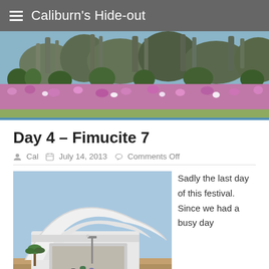Caliburn's Hide-out
[Figure (photo): Panoramic banner photo showing dramatic rocky limestone formations with pink/purple flowers in the foreground against a blue sky]
Day 4 – Fimucite 7
Cal   July 14, 2013   Comments Off
[Figure (photo): Photo of a modern white curved architectural building (auditorium/concert hall) with a sweeping arc roof, palm trees, and people walking in front]
Sadly the last day of this festival. Since we had a busy day